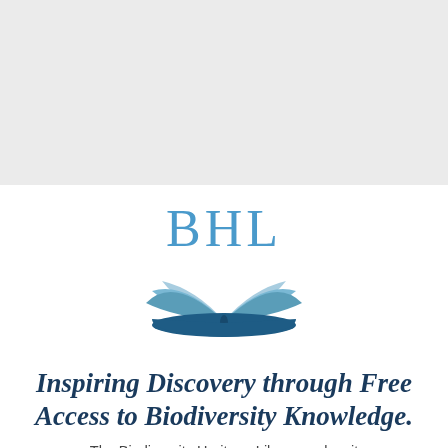[Figure (logo): BHL (Biodiversity Heritage Library) logo: the letters 'BHL' in blue above an open book icon with blue and light blue stylized pages]
Inspiring Discovery through Free Access to Biodiversity Knowledge.
The Biodiversity Heritage Library makes it